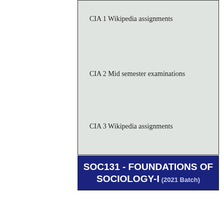CIA 1 Wikipedia assignments
CIA 2 Mid semester examinations
CIA 3 Wikipedia assignments
SOC131 - FOUNDATIONS OF SOCIOLOGY-I (2021 Batch)
| Total Teaching Hours for Semester:75 | No of Lecture Hours/Week:5 |
| --- | --- |
| Max Marks:100 | Credits:5 |
| Course Objectives/Course |  |